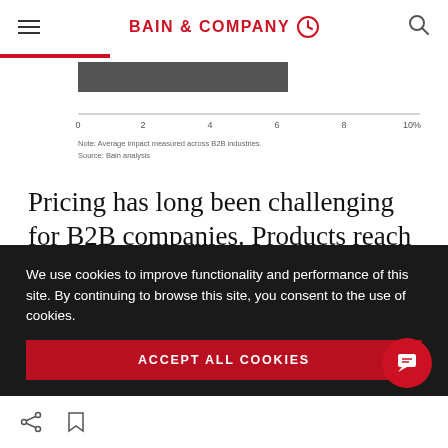BAIN & COMPANY
[Figure (bar-chart): Partial bar chart showing data across B2B industries, x-axis 0 to 10%, note: Average impact measured across B2B industries. Source: Bain analysis.]
Pricing has long been challenging for B2B companies. Products reach end customers through a direct salesforce as well as indirect distributors, such as resellers, which makes for a
We use cookies to improve functionality and performance of this site. By continuing to browse this site, you consent to the use of cookies.
ACCEPT ALL COOKIES